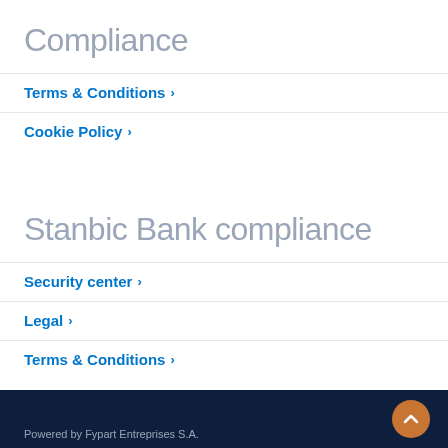Compliance
Terms & Conditions ›
Cookie Policy ›
Stanbic Bank compliance
Security center ›
Legal ›
Terms & Conditions ›
Powered by Fypart Entreprises S.A.